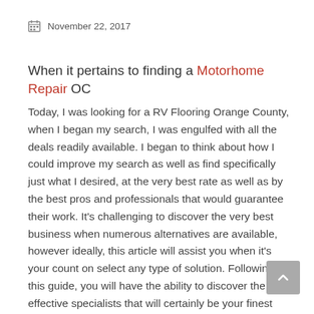November 22, 2017
When it pertains to finding a Motorhome Repair OC
Today, I was looking for a RV Flooring Orange County, when I began my search, I was engulfed with all the deals readily available. I began to think about how I could improve my search as well as find specifically just what I desired, at the very best rate as well as by the best pros and professionals that would guarantee their work. It's challenging to discover the very best business when numerous alternatives are available, however ideally, this article will assist you when it's your count on select any type of solution. Following this guide, you will have the ability to discover the most effective specialists that will certainly be your finest choice for anything that you require.
Searching for A Motorhome Repair OC